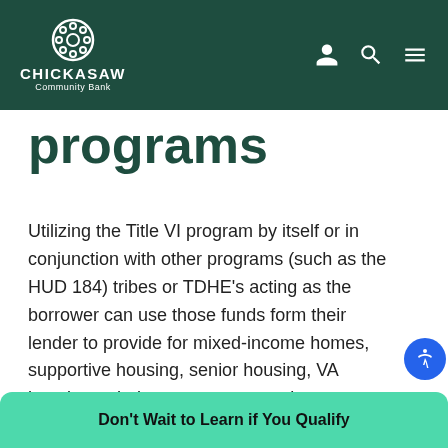CHICKASAW Community Bank
programs
Utilizing the Title VI program by itself or in conjunction with other programs (such as the HUD 184) tribes or TDHE’s acting as the borrower can use those funds form their lender to provide for mixed-income homes, supportive housing, senior housing, VA housing, rehab centers, community centers and more. What’s more, you can undertake these projects on or off of tribal lands. We’re experts in navigating the possibilities and versatility of this program, so get
Don’t Wait to Learn if You Qualify